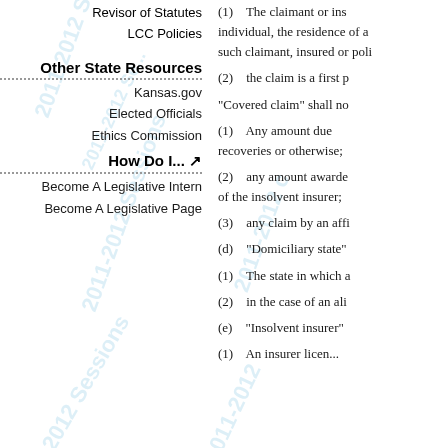Revisor of Statutes
LCC Policies
Other State Resources
Kansas.gov
Elected Officials
Ethics Commission
How Do I...
Become A Legislative Intern
Become A Legislative Page
(1)    The claimant or ins individual, the residence of a such claimant, insured or poli
(2)    the claim is a first p
"Covered claim" shall no
(1)    Any amount due recoveries or otherwise;
(2)    any amount awarde of the insolvent insurer;
(3)    any claim by an affi
(d)    "Domiciliary state"
(1)    The state in which a
(2)    in the case of an ali
(e)    "Insolvent insurer"
(1)    An insurer licen...